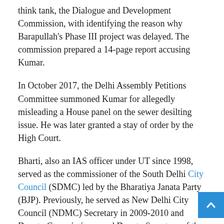think tank, the Dialogue and Development Commission, with identifying the reason why Barapullah's Phase III project was delayed. The commission prepared a 14-page report accusing Kumar.
In October 2017, the Delhi Assembly Petitions Committee summoned Kumar for allegedly misleading a House panel on the sewer desilting issue. He was later granted a stay of order by the High Court.
Bharti, also an IAS officer under UT since 1998, served as the commissioner of the South Delhi City Council (SDMC) led by the Bharatiya Janata Party (BJP). Previously, he served as New Delhi City Council (NDMC) Secretary in 2009-2010 and Deputy Commissioner and Deputy Secretary of the Unified MCD between 2005-2008.
It was under Bharti that the SDMC then filed an FIR against AAP MP Amanatullah Khan after being asked to do so by the